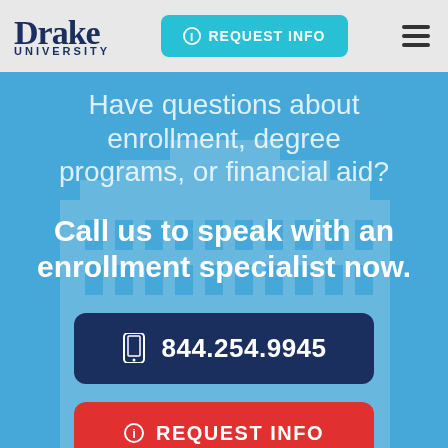[Figure (screenshot): Drake University website screenshot showing enrollment inquiry page with navigation bar, blue hero background with building silhouette, headline text, phone number button, and request info button]
Drake University | REQUEST INFO
Have questions about enrollment, degree programs, or financial aid?
Call us to speak with an enrollment specialist now.
844.254.9945
REQUEST INFO